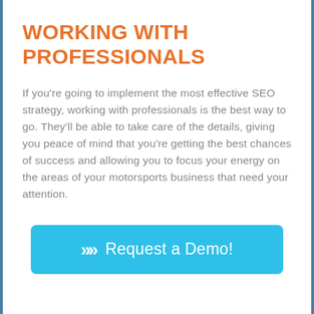WORKING WITH PROFESSIONALS
If you're going to implement the most effective SEO strategy, working with professionals is the best way to go. They'll be able to take care of the details, giving you peace of mind that you're getting the best chances of success and allowing you to focus your energy on the areas of your motorsports business that need your attention.
[Figure (other): Cyan/blue rounded button with double chevron (>>) icon and text 'Request a Demo!']